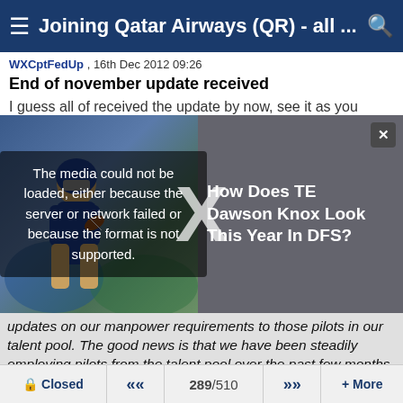≡ Joining Qatar Airways (QR) - all ... 🔍
WXCptFedUp , 16th Dec 2012 09:26
End of november update received
I guess all of received the update by now, see it as you
[Figure (screenshot): Football player photo with media error overlay: 'The media could not be loaded, either because the server or network failed or because the format is not supported.' An ad overlay reads 'How Does TE Dawson Knox Look This Year In DFS?' with a close button. A large X is shown over the media area.]
updates on our manpower requirements to those pilots in our talent pool. The good news is that we have been steadily employing pilots from the talent pool over the past few months as our manpower requirements for 2013 become clearer. To give you some indication of our hiring trends for the coming 12 months, we will see an easing of the requirement for Second Officers, there is likely to be no further recruitment of Fast Track Second Officers, a reduced requirement also for First Officers and an increasing
🔒 Closed  «  289/510  »  + More